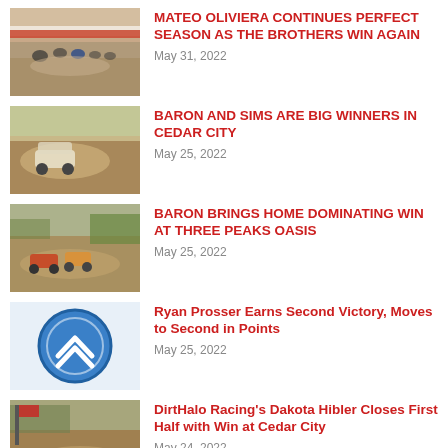[Figure (photo): Motorcycles racing on a dirt track with red and white barriers]
MATEO OLIVIERA CONTINUES PERFECT SEASON AS THE BROTHERS WIN AGAIN
May 31, 2022
[Figure (photo): Off-road buggy racing on a dusty dirt track]
BARON AND SIMS ARE BIG WINNERS IN CEDAR CITY
May 25, 2022
[Figure (photo): ATVs racing on a dirt track with desert vegetation]
BARON BRINGS HOME DOMINATING WIN AT THREE PEAKS OASIS
May 25, 2022
[Figure (logo): Blue circular logo with upward chevron/arrow symbol]
Ryan Prosser Earns Second Victory, Moves to Second in Points
May 25, 2022
[Figure (photo): Off-road vehicles racing on a dirt track at Cedar City]
DirtHalo Racing's Dakota Hibler Closes First Half with Win at Cedar City
May 24, 2022